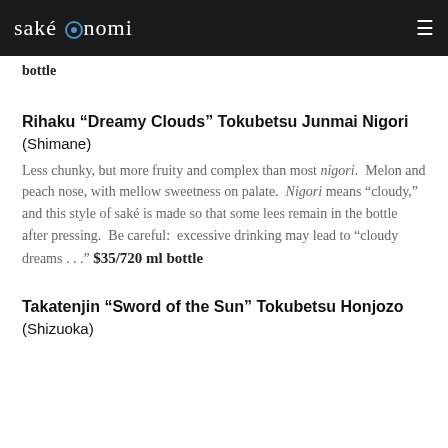saké nomi
with pleasing fruitiness and dryish finish. Excellent served warm, when the overall character is one of great comfort. $40/900 ml bottle
Rihaku “Dreamy Clouds” Tokubetsu Junmai Nigori (Shimane)
Less chunky, but more fruity and complex than most nigori. Melon and peach nose, with mellow sweetness on palate. Nigori means “cloudy,” and this style of saké is made so that some lees remain in the bottle after pressing. Be careful: excessive drinking may lead to “cloudy dreams . . .” $35/720 ml bottle
Takatenjin “Sword of the Sun” Tokubetsu Honjozo (Shizuoka)